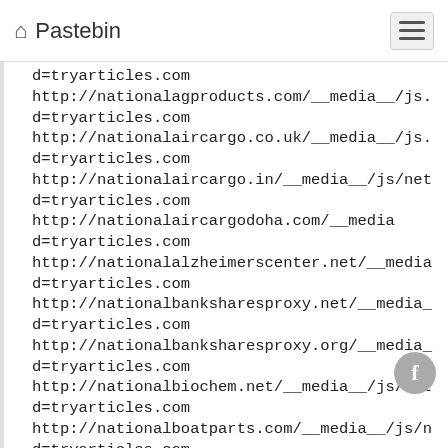Pastebin
d=tryarticles.com
http://nationalagproducts.com/__media__/js/...
d=tryarticles.com
http://nationalaircargo.co.uk/__media__/js/...
d=tryarticles.com
http://nationalaircargo.in/__media__/js/net...
d=tryarticles.com
http://nationalaircargodoha.com/__media...
d=tryarticles.com
http://nationalalzheimerscenter.net/__media...
d=tryarticles.com
http://nationalbanksharesproxy.net/__media_...
d=tryarticles.com
http://nationalbanksharesproxy.org/__media_...
d=tryarticles.com
http://nationalbiochem.net/__media__/js/net...
d=tryarticles.com
http://nationalboatparts.com/__media__/js/n...
d=tryarticles.com
http://nationalcrane.media/__media__/js/net...
d=tryarticles.com
http://nationalequipmentleasingassociation...
d=tryarticles.com
http://nationalory.net/__media__/js/netsol...